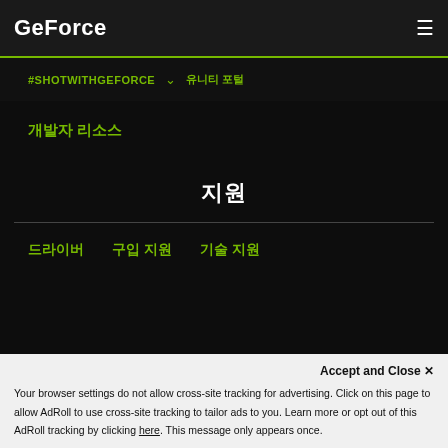GeForce
#SHOTWITHGEFORCE
✓유니티 포털
개발자 리소스
지원
드라이버
구입 지원
기술 지원
Accept and Close ✕
Your browser settings do not allow cross-site tracking for advertising. Click on this page to allow AdRoll to use cross-site tracking to tailor ads to you. Learn more or opt out of this AdRoll tracking by clicking here. This message only appears once.